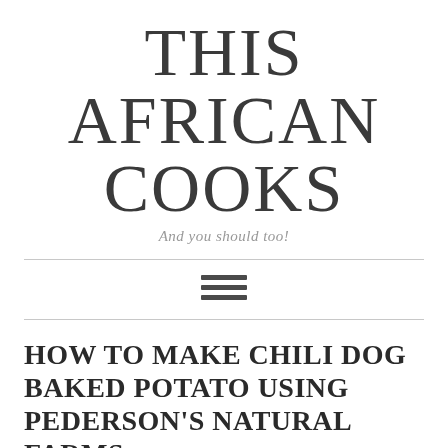THIS AFRICAN COOKS
And you should too!
HOW TO MAKE CHILI DOG BAKED POTATO USING PEDERSON'S NATURAL FARMS